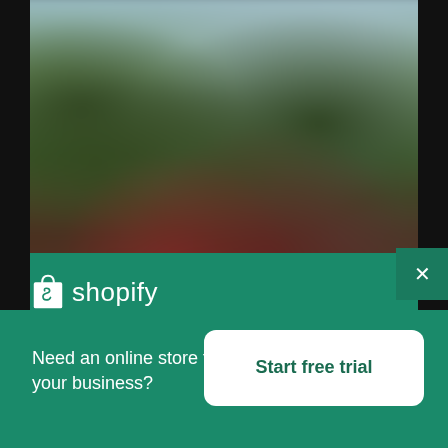[Figure (photo): Blurred outdoor photo showing trees with red and green foliage, a house structure in the background, and a person in a blue shirt visible at bottom right. Black bars on left and right sides.]
[Figure (logo): Shopify logo: white shopping bag icon with 'S' followed by the word 'shopify' in white text on green background]
Need an online store for your business?
Start free trial